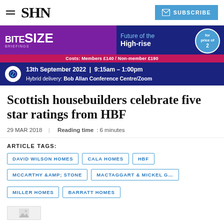SHN | SUBSCRIBE
[Figure (infographic): Advertisement banner for BITESIZE BRIEFINGS: Future of the High-rise. Costs: Members £140 / Non-member £190. 13th September 2022 | 9:15am – 1:00pm. Hybrid delivery: Bob Allan Conference Centre/Zoom]
Scottish housebuilders celebrate five star ratings from HBF
29 MAR 2018 | Reading time: 6 minutes
ARTICLE TAGS:
DAVID WILSON HOMES
CALA HOMES
HBF
MCCARTHY &AMP; STONE
MACTAGGART & MICKEL G…
MILLER HOMES
BARRATT HOMES
[Figure (photo): Partial image preview at bottom of page]